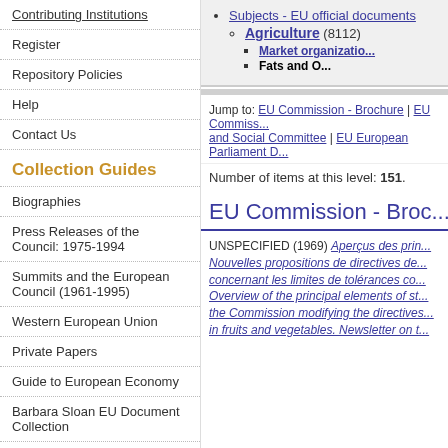Contributing Institutions
Register
Repository Policies
Help
Contact Us
Collection Guides
Biographies
Press Releases of the Council: 1975-1994
Summits and the European Council (1961-1995)
Western European Union
Private Papers
Guide to European Economy
Barbara Sloan EU Document Collection
Search and Browse
Subjects - EU official documents (truncated)
Agriculture (8112)
Market organization (truncated)
Fats and O...
Jump to: EU Commission - Brochure | EU Commission... and Social Committee | EU European Parliament D...
Number of items at this level: 151.
EU Commission - Broc...
UNSPECIFIED (1969) Aperçus des prin... Nouvelles propositions de directives de... concernant les limites de tolérances co... Overview of the principal elements of st... the Commission modifying the directives... in fruits and vegetables. Newsletter on t...